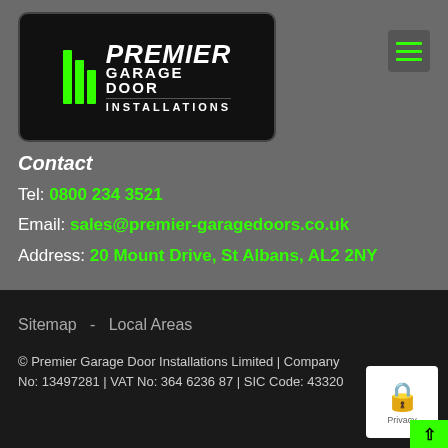[Figure (logo): Premier Garage Door Installations logo with green stripe bars and white text on dark background, with hamburger menu icon]
Contact
Tel: 0800 234 3521
Email: sales@premier-garagedoors.co.uk
Address: 20 Mount Drive, St Albans, AL2 2NY
Sitemap  -  Local Areas
© Premier Garage Door Installations Limited | Company No: 13497281 | VAT No: 364 6236 87 | SIC Code: 43320